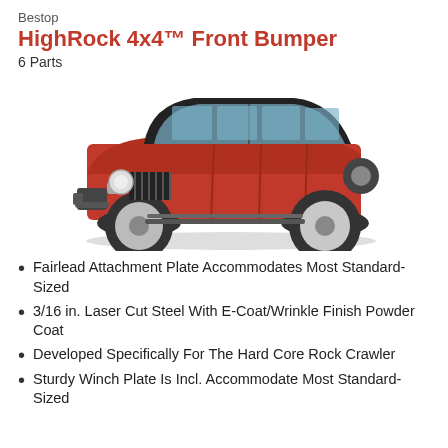Bestop
HighRock 4x4™ Front Bumper
6 Parts
[Figure (photo): Red Jeep Wrangler 4-door with HighRock 4x4 front bumper installed, shown in 3/4 front-left view on a white background with subtle shadow.]
Fairlead Attachment Plate Accommodates Most Standard-Sized
3/16 in. Laser Cut Steel With E-Coat/Wrinkle Finish Powder Coat
Developed Specifically For The Hard Core Rock Crawler
Sturdy Winch Plate Is Incl. Accommodate Most Standard-Sized